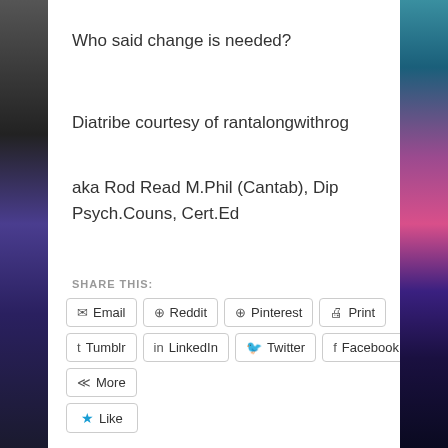Who said change is needed?
Diatribe courtesy of rantalongwithrog
aka Rod Read M.Phil (Cantab), Dip Psych.Couns, Cert.Ed
SHARE THIS:
Email | Reddit | Pinterest | Print | Tumblr | LinkedIn | Twitter | Facebook | More | Like